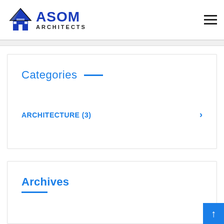[Figure (logo): ASOM Architects logo with house/A icon and blue text]
Categories
ARCHITECTURE (3)
Archives